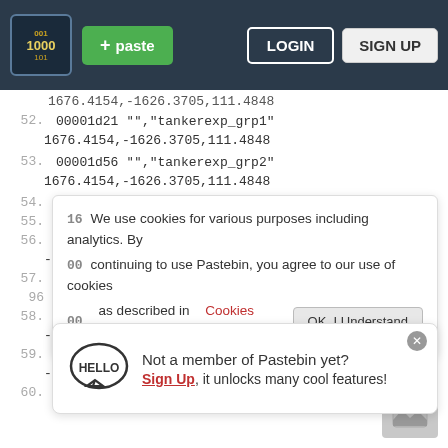Pastebin navigation bar with logo, + paste button, LOGIN and SIGN UP buttons
1676.4154,-1626.3705,111.4848 (truncated top)
52. 00001d21 "","tankerexp_grp1"
1676.4154,-1626.3705,111.4848
53. 00001d56 "","tankerexp_grp2"
1676.4154,-1626.3705,111.4848
54. 00001d0b "" "DFG_tankerexp"
We use cookies for various purposes including analytics. By continuing to use Pastebin, you agree to our use of cookies as described in the Cookies Policy. OK, I Understand
55. 00
56. 00
-1600.6194,4443.4565,0.725
57. 00
96
Not a member of Pastebin yet? Sign Up, it unlocks many cool features!
58. 00
-3086.4285,339.2523,6.3717
59. 00001e87 "ferris_finale_Anim",""
-1675.1783,-1143.6046,12.0175
60. 00001ebc "railing_start","railing_end"